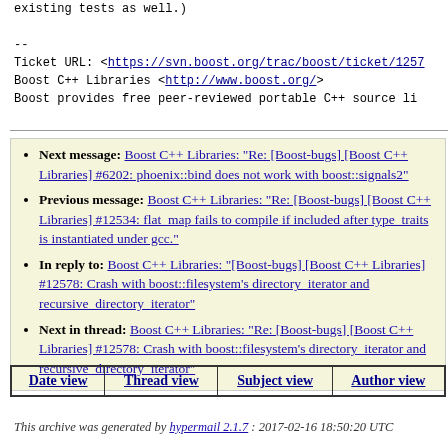--
Ticket URL: <https://svn.boost.org/trac/boost/ticket/1257
Boost C++ Libraries <http://www.boost.org/>
Boost provides free peer-reviewed portable C++ source li
Next message: Boost C++ Libraries: "Re: [Boost-bugs] [Boost C++ Libraries] #6202: phoenix::bind does not work with boost::signals2"
Previous message: Boost C++ Libraries: "Re: [Boost-bugs] [Boost C++ Libraries] #12534: flat_map fails to compile if included after type_traits is instantiated under gcc."
In reply to: Boost C++ Libraries: "[Boost-bugs] [Boost C++ Libraries] #12578: Crash with boost::filesystem's directory_iterator and recursive_directory_iterator"
Next in thread: Boost C++ Libraries: "Re: [Boost-bugs] [Boost C++ Libraries] #12578: Crash with boost::filesystem's directory_iterator and recursive_directory_iterator"
| Date view | Thread view | Subject view | Author view |
| --- | --- | --- | --- |
This archive was generated by hypermail 2.1.7 : 2017-02-16 18:50:20 UTC